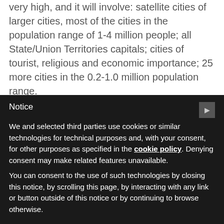very high, and it will involve: satellite cities of larger cities, most of the cities in the population range of 1-4 million people; all State/Union Territories capitals; cities of tourist, religious and economic importance; 25 more cities in the 0.2-1.0 million population range.
He then went on to mention some of the main infrastructural projects. Among these, the metro rail/monorail development plan: some are already operational (Bangalore, Chennai, Delhi, Gurgaon
Notice
We and selected third parties use cookies or similar technologies for technical purposes and, with your consent, for other purposes as specified in the cookie policy. Denying consent may make related features unavailable.
You can consent to the use of such technologies by closing this notice, by scrolling this page, by interacting with any link or button outside of this notice or by continuing to browse otherwise.